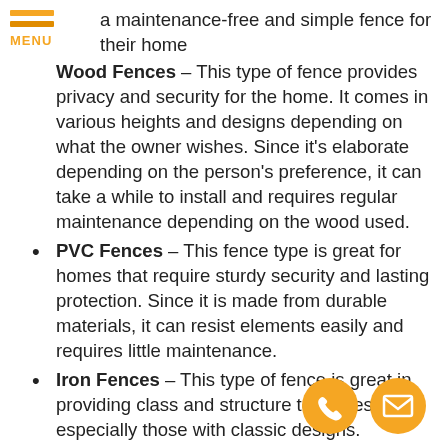MENU
a maintenance-free and simple fence for their home
Wood Fences – This type of fence provides privacy and security for the home. It comes in various heights and designs depending on what the owner wishes. Since it's elaborate depending on the person's preference, it can take a while to install and requires regular maintenance depending on the wood used.
PVC Fences – This fence type is great for homes that require sturdy security and lasting protection. Since it is made from durable materials, it can resist elements easily and requires little maintenance.
Iron Fences – This type of fence is great in providing class and structure to homes, especially those with classic designs. Unfortunately, it can be expensive to commission as they are often custom-made per home.
Vinyl Fences – This fence type is suitable for long-term use and it's low-maintenance. It is also the fence of choice for those who are trying to save money for fences.
Electric Fences – This type of fence is perfect fo...